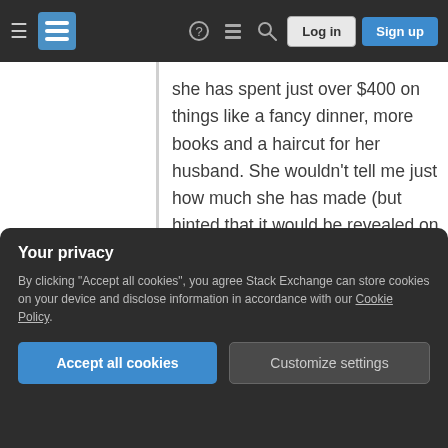Stack Exchange navigation bar with hamburger menu, logo, help, chat, search icons, Log in and Sign up buttons
she has spent just over $400 on things like a fancy dinner, more books and a haircut for her husband. She wouldn't tell me just how much she has made (but hinted that it would be revealed on the blog eventually) but her take may be higher than you expect — she has a 50% royalty on the ebook, roughly double the going rate when working with a publisher...
Further in the article
at least some readers from finding or
Your privacy
By clicking "Accept all cookies", you agree Stack Exchange can store cookies on your device and disclose information in accordance with our Cookie Policy.
Accept all cookies  Customize settings